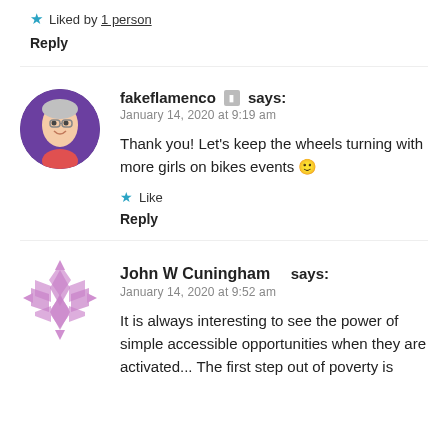★ Liked by 1 person
Reply
fakeflamenco says:
January 14, 2020 at 9:19 am
Thank you! Let's keep the wheels turning with more girls on bikes events 🙂
★ Like
Reply
John W Cuningham says:
January 14, 2020 at 9:52 am
It is always interesting to see the power of simple accessible opportunities when they are activated... The first step out of poverty is